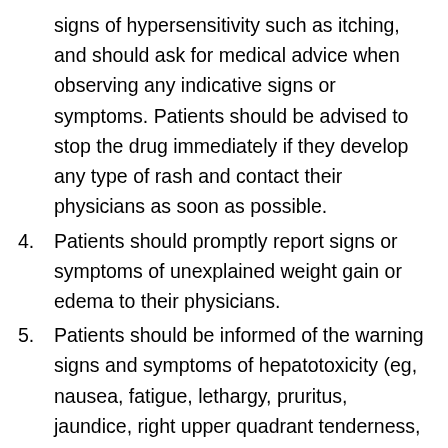signs of hypersensitivity such as itching, and should ask for medical advice when observing any indicative signs or symptoms. Patients should be advised to stop the drug immediately if they develop any type of rash and contact their physicians as soon as possible.
4. Patients should promptly report signs or symptoms of unexplained weight gain or edema to their physicians.
5. Patients should be informed of the warning signs and symptoms of hepatotoxicity (eg, nausea, fatigue, lethargy, pruritus, jaundice, right upper quadrant tenderness, and “flu-like” symptoms). If these occur, patients should be instructed to stop therapy and seek immediate medical therapy.
6. Patients should be informed of the signs of an